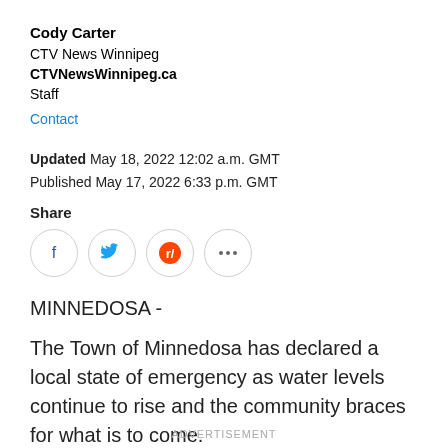Cody Carter
CTV News Winnipeg
CTVNewsWinnipeg.ca
Staff
Contact
Updated May 18, 2022 12:02 a.m. GMT
Published May 17, 2022 6:33 p.m. GMT
[Figure (other): Social share icons: Facebook, Twitter, Reddit, More (ellipsis)]
MINNEDOSA -
The Town of Minnedosa has declared a local state of emergency as water levels continue to rise and the community braces for what is to come.
ADVERTISEMENT